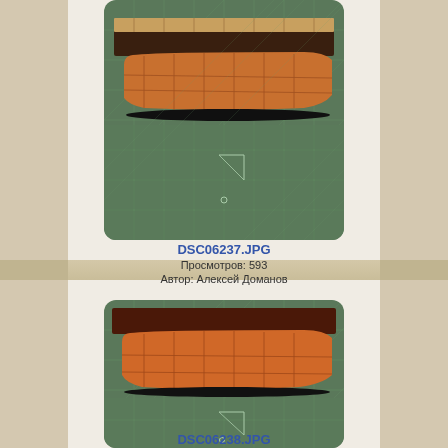[Figure (photo): Wooden ship model hull on a green cutting mat, viewed from the side, showing planking detail. Model appears to have a dark wooden deck and light wood hull.]
DSC06237.JPG
Просмотров: 593
Автор: Алексей Доманов
[Figure (photo): Second wooden ship model hull on a green cutting mat, similar angle showing orange-toned wood hull with planking and dark upper trim.]
DSC06238.JPG